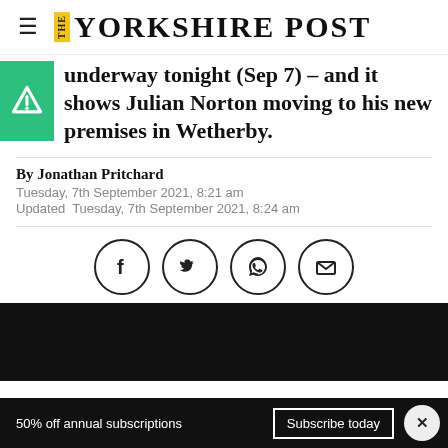THE YORKSHIRE POST
underway tonight (Sep 7) – and it shows Julian Norton moving to his new premises in Wetherby.
By Jonathan Pritchard
Tuesday, 7th September 2021, 8:21 am
Updated  Tuesday, 7th September 2021, 8:24 am
[Figure (infographic): Social sharing icons: Facebook, Twitter, WhatsApp/phone, Email, each in a circle]
[Figure (photo): Dark/black image area, partially visible]
50% off annual subscriptions   Subscribe today